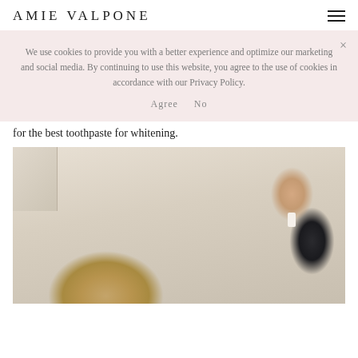AMIE VALPONE
We use cookies to provide you with a better experience and optimize our marketing and social media. By continuing to use this website, you agree to the use of cookies in accordance with our Privacy Policy.

Agree  No
for the best toothpaste for whitening.
[Figure (photo): Photo of a person (partially visible, blonde hair at bottom) holding a white object (toothpaste tube), in a bathroom setting with beige/neutral walls and cabinetry visible in upper left. A hand is visible in the upper right area.]